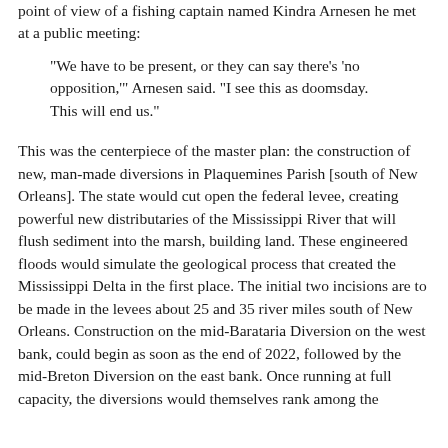point of view of a fishing captain named Kindra Arnesen he met at a public meeting:
“We have to be present, or they can say there’s ‘no opposition,’” Arnesen said. “I see this as doomsday. This will end us.”
This was the centerpiece of the master plan: the construction of new, man-made diversions in Plaquemines Parish [south of New Orleans]. The state would cut open the federal levee, creating powerful new distributaries of the Mississippi River that will flush sediment into the marsh, building land. These engineered floods would simulate the geological process that created the Mississippi Delta in the first place. The initial two incisions are to be made in the levees about 25 and 35 river miles south of New Orleans. Construction on the mid-Barataria Diversion on the west bank, could begin as soon as the end of 2022, followed by the mid-Breton Diversion on the east bank. Once running at full capacity, the diversions would themselves rank among the